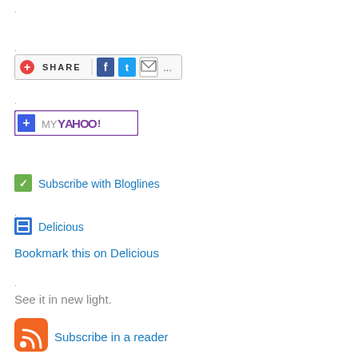.
.
[Figure (other): Share button with Facebook, Twitter, and email icons]
.
[Figure (other): Add to My Yahoo! button]
[Figure (other): Subscribe with Bloglines link with small green icon]
.
[Figure (other): Delicious bookmark icon and Bookmark this on Delicious link]
.
See it in new light.
[Figure (other): RSS icon and Subscribe in a reader link]